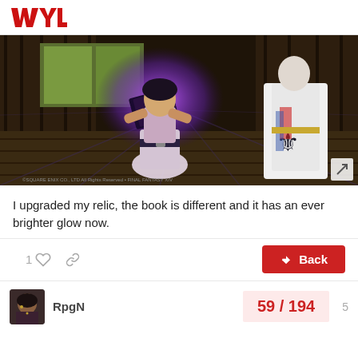WYL
[Figure (screenshot): Screenshot of a video game (Final Fantasy XIV or similar RPG) showing a character in a white robe/armor holding a glowing purple magical book, with another character in the background. The scene is set in a wooden interior. A purple magical glow emanates from the book.]
I upgraded my relic, the book is different and it has an ever brighter glow now.
1 [like icon] [link icon]    ↓ Back
RpgN    59 / 194    5